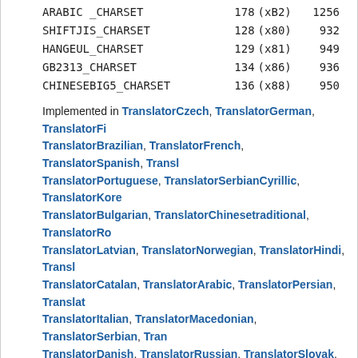| Name | Value | Hex | Code |
| --- | --- | --- | --- |
| ARABIC _CHARSET | 178 | (xB2) | 1256 |
| SHIFTJIS_CHARSET | 128 | (x80) | 932 |
| HANGEUL_CHARSET | 129 | (x81) | 949 |
| GB2313_CHARSET | 134 | (x86) | 936 |
| CHINESEBIG5_CHARSET | 136 | (x88) | 950 |
Implemented in TranslatorCzech, TranslatorGerman, TranslatorFi..., TranslatorBrazilian, TranslatorFrench, TranslatorSpanish, Transl..., TranslatorPortuguese, TranslatorSerbianCyrillic, TranslatorKore..., TranslatorBulgarian, TranslatorChinesetraditional, TranslatorRo..., TranslatorLatvian, TranslatorNorwegian, TranslatorHindi, Transl..., TranslatorCatalan, TranslatorArabic, TranslatorPersian, Translat..., TranslatorItalian, TranslatorMacedonian, TranslatorSerbian, Tran..., TranslatorDanish, TranslatorRussian, TranslatorSlovak, Translat..., TranslatorArmenian, TranslatorChinese, TranslatorCroatian, Tra..., TranslatorJapaneseEn, and TranslatorKoreanEn.
trRTFCharSet()